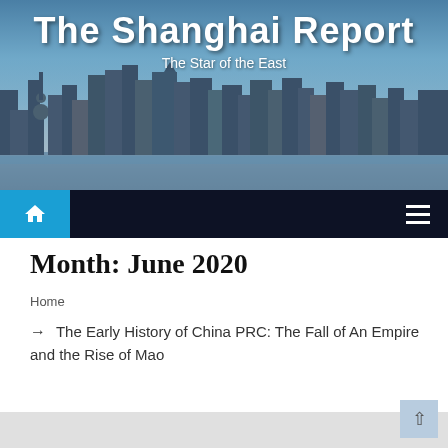[Figure (photo): Shanghai skyline city photo used as website header banner, showing tall skyscrapers and waterfront]
The Star of the East
Home icon navigation button and hamburger menu
Month: June 2020
Home
→ The Early History of China PRC: The Fall of An Empire and the Rise of Mao